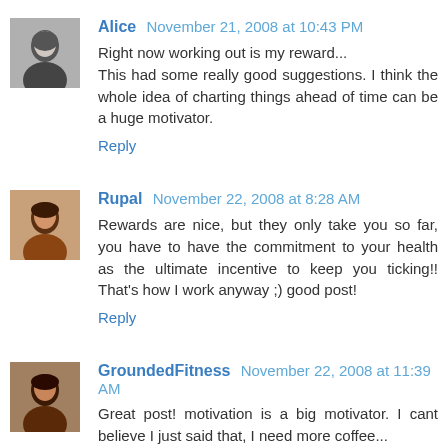[Figure (photo): Black and white avatar photo of Alice]
Alice  November 21, 2008 at 10:43 PM
Right now working out is my reward...
This had some really good suggestions. I think the whole idea of charting things ahead of time can be a huge motivator.
Reply
[Figure (photo): Color avatar photo of Rupal]
Rupal  November 22, 2008 at 8:28 AM
Rewards are nice, but they only take you so far, you have to have the commitment to your health as the ultimate incentive to keep you ticking!! That's how I work anyway ;) good post!
Reply
[Figure (photo): Color avatar photo of GroundedFitness]
GroundedFitness  November 22, 2008 at 11:39 AM
Great post! motivation is a big motivator. I cant believe I just said that, I need more coffee...